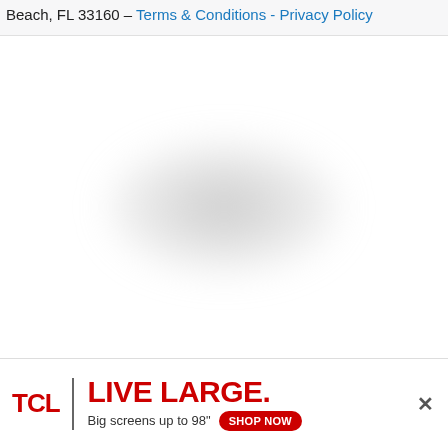Beach, FL 33160 – Terms & Conditions - Privacy Policy
[Figure (other): Blurred/redacted circular content area, mostly white with a soft grey radial blur in the center-lower portion]
[Figure (infographic): TCL advertisement banner: TCL logo in red, vertical divider, 'LIVE LARGE.' in large red bold text, 'Big screens up to 98"' with a red 'SHOP NOW' pill button, and a close (×) button on the right]